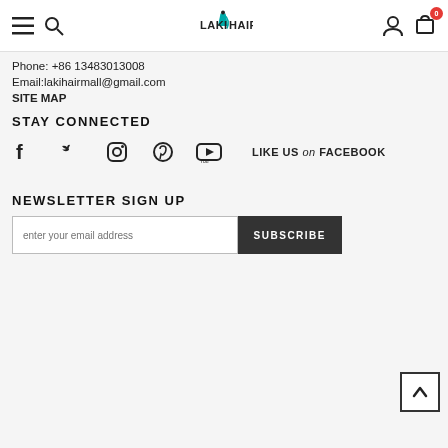LAKIHAIR — navigation bar with hamburger, search, logo, user icon, cart (0)
Phone: +86 13483013008
Email:lakihairmall@gmail.com
SITE MAP
STAY CONNECTED
[Figure (infographic): Social media icons: Facebook, Twitter, Instagram, Pinterest, YouTube; with text 'LIKE US on FACEBOOK']
NEWSLETTER SIGN UP
enter your email address — SUBSCRIBE button